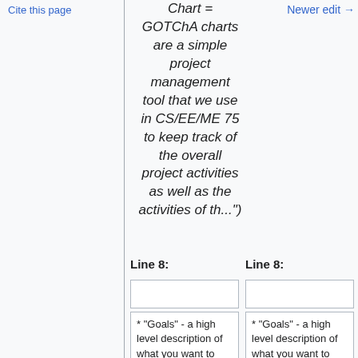Cite this page
Newer edit →
Chart = GOTChA charts are a simple project management tool that we use in CS/EE/ME 75 to keep track of the overall project activities as well as the activities of th...")
Line 8:
Line 8:
* "Goals" - a high level description of what you want to accomplish, in
* "Goals" - a high level description of what you want to accomplish, in